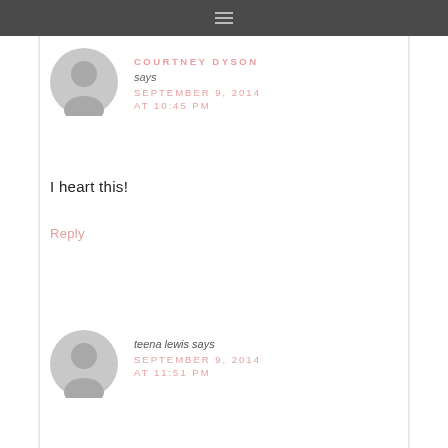≡ (navigation menu icon)
COURTNEY DYSON says SEPTEMBER 9, 2014 AT 10:45 PM
I heart this!
Reply
teena lewis says SEPTEMBER 9, 2014 AT 11:51 PM